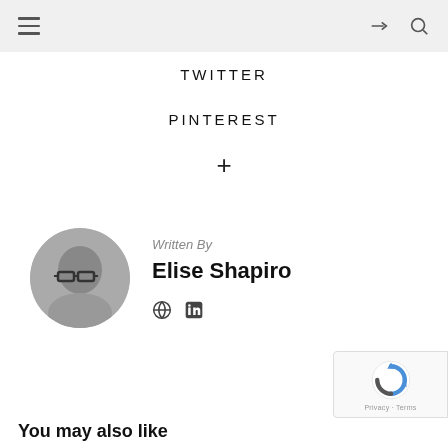Navigation bar with hamburger menu, share icon, and search icon
TWITTER
PINTEREST
+
[Figure (photo): Circular profile photo of Elise Shapiro, a woman with short dark hair wearing glasses, smiling, in black and white.]
Written By
Elise Shapiro
Globe icon and LinkedIn icon
You may also like
[Figure (other): reCAPTCHA privacy badge in bottom right corner]